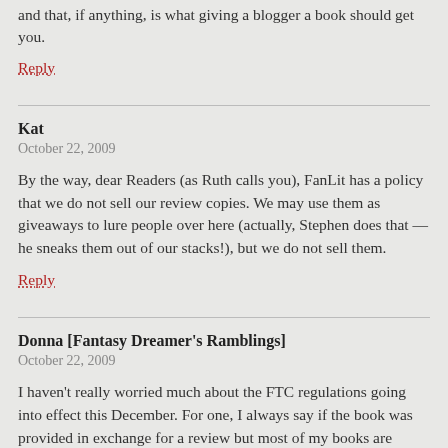and that, if anything, is what giving a blogger a book should get you.
Reply
Kat
October 22, 2009
By the way, dear Readers (as Ruth calls you), FanLit has a policy that we do not sell our review copies. We may use them as giveaways to lure people over here (actually, Stephen does that — he sneaks them out of our stacks!), but we do not sell them.
Reply
Donna [Fantasy Dreamer's Ramblings]
October 22, 2009
I haven't really worried much about the FTC regulations going into effect this December. For one, I always say if the book was provided in exchange for a review but most of my books are bought by myself – even before the FTC butted in. Plus, a free book doesn't guarantee a rave review with me. It'll just you a honest review with the best of my writing abilities. And I don't think the free book for review is really free. What about your time spent writing and